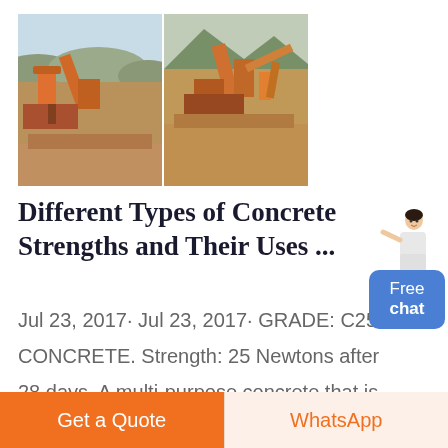[Figure (photo): Two side-by-side photos of a concrete/aggregate processing plant or quarry site with machinery and conveyor belts against a mountain backdrop.]
Different Types of Concrete Strengths and Their Uses ...
Jul 23, 2017· Jul 23, 2017· GRADE: C25 CONCRETE. Strength: 25 Newtons after 28 days. A multi-purpose concrete that is used on a wide range of commercial and domestic construction sites. C25 is often used when pouring
Free chat
Get a Quote
WhatsApp